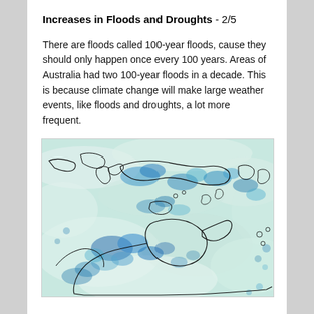Increases in Floods and Droughts - 2/5
There are floods called 100-year floods, cause they should only happen once every 100 years. Areas of Australia had two 100-year floods in a decade. This is because climate change will make large weather events, like floods and droughts, a lot more frequent.
[Figure (map): Satellite or rainfall map showing Australia and surrounding region (Indonesia, Papua New Guinea) with blue shading indicating flood/rainfall intensity over a teal-green background with black coastline outlines.]